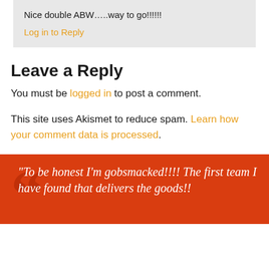Nice double ABW…..way to go!!!!!!
Log in to Reply
Leave a Reply
You must be logged in to post a comment.
This site uses Akismet to reduce spam. Learn how your comment data is processed.
“To be honest I’m gobsmacked!!!! The first team I have found that delivers the goods!!